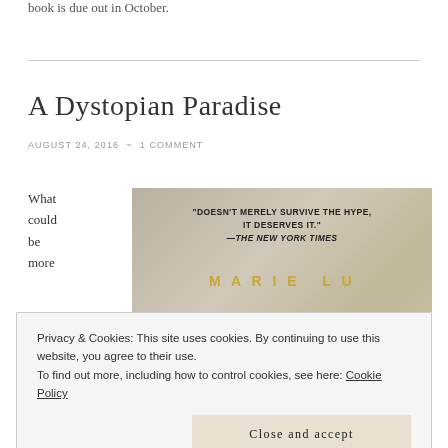book is due out in October.
A Dystopian Paradise
AUGUST 24, 2016  ~  1 COMMENT
What could be more
[Figure (photo): Book cover image with quote 'DOESN'T MERELY SURVIVE THE HYPE, IT DESERVES IT.' —THE NEW YORK TIMES, and author name MARIE LU in gold letters]
late
Privacy & Cookies: This site uses cookies. By continuing to use this website, you agree to their use.
To find out more, including how to control cookies, see here: Cookie Policy
Close and accept